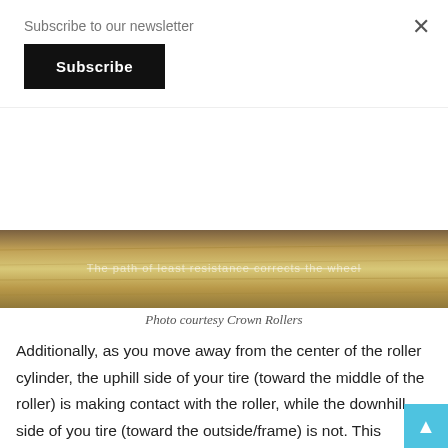Subscribe to our newsletter
Subscribe
[Figure (photo): Close-up photo of a wooden roller surface with text overlay reading 'The path of least resistance corrects the wheel']
Photo courtesy Crown Rollers
Additionally, as you move away from the center of the roller cylinder, the uphill side of your tire (toward the middle of the roller) is making contact with the roller, while the downhill side of you tire (toward the outside/frame) is not. This means the uphill side has traction and wants to climb back to the top of the crown. This may be a bit tricky to understand, but it’s no different than rubbing your tire along a curb or rut and your tire wanting to jump up the side of the curb or rut.